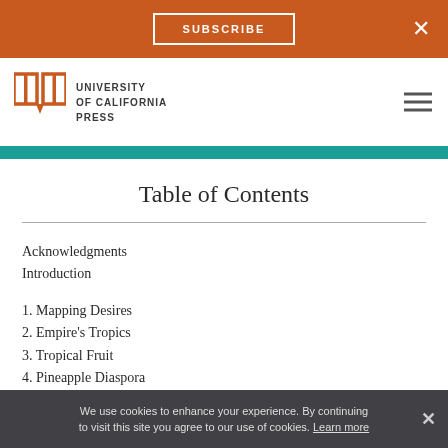SUBSCRIBE  ×
[Figure (logo): University of California Press logo with stylized open book icon and text 'UNIVERSITY of CALIFORNIA PRESS']
Table of Contents
Acknowledgments
Introduction
1. Mapping Desires
2. Empire's Tropics
3. Tropical Fruit
4. Pineapple Diaspora
We use cookies to enhance your experience. By continuing to visit this site you agree to our use of cookies. Learn more  ×